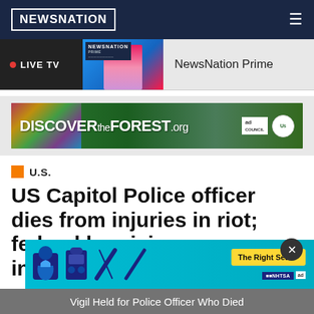NEWSNATION
[Figure (screenshot): NewsNation Live TV bar showing host and NewsNation Prime label]
[Figure (other): DiscovertheForest.org advertisement banner with Ad Council and US Forest Service logos]
U.S.
US Capitol Police officer dies from injuries in riot; federal homicide investigation opened
[Figure (other): NHTSA The Right Seat advertisement banner]
Vigil Held for Police Officer Who Died